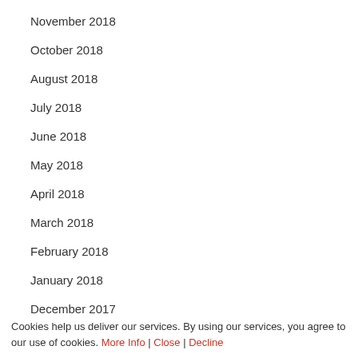November 2018
October 2018
August 2018
July 2018
June 2018
May 2018
April 2018
March 2018
February 2018
January 2018
December 2017
Cookies help us deliver our services. By using our services, you agree to our use of cookies. More Info | Close | Decline